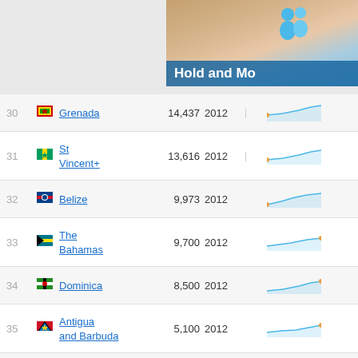[Figure (screenshot): Top banner with 'Hold and Mo' text visible, decorative background with teal person icons]
| Rank | Country | Value | Year |  | Trend |
| --- | --- | --- | --- | --- | --- |
| 30 | Grenada | 14,437 | 2012 | | |  |
| 31 | St Vincent+ | 13,616 | 2012 | | |  |
| 32 | Belize | 9,973 | 2012 |  |  |
| 33 | The Bahamas | 9,700 | 2012 |  |  |
| 34 | Dominica | 8,500 | 2012 |  |  |
| 35 | Antigua and Barbuda | 5,100 | 2012 |  |  |
| 36 | Cuba | 5,013 | 2012 |  |  |